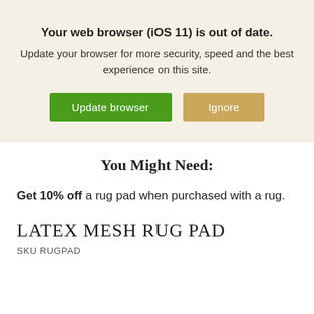Your web browser (iOS 11) is out of date.
Update your browser for more security, speed and the best experience on this site.
You Might Need:
Get 10% off a rug pad when purchased with a rug.
LATEX MESH RUG PAD
SKU RUGPAD